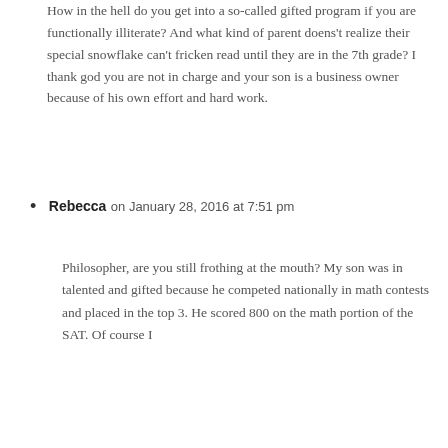How in the hell do you get into a so-called gifted program if you are functionally illiterate? And what kind of parent doens't realize their special snowflake can't fricken read until they are in the 7th grade? I thank god you are not in charge and your son is a business owner because of his own effort and hard work.
Rebecca on January 28, 2016 at 7:51 pm
Philosopher, are you still frothing at the mouth? My son was in talented and gifted because he competed nationally in math contests and placed in the top 3. He scored 800 on the math portion of the SAT. Of course I